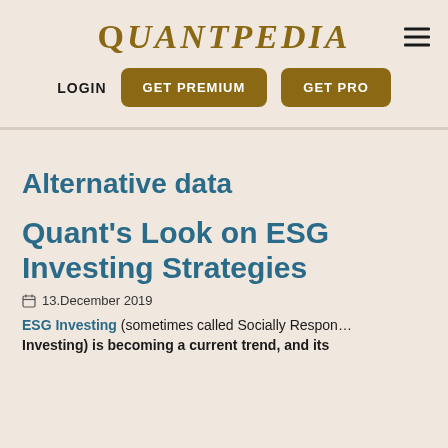QUANTPEDIA
LOGIN
GET PREMIUM
GET PRO
Alternative data
Quant’s Look on ESG Investing Strategies
13.December 2019
ESG Investing (sometimes called Socially Responsible Investing) is becoming a current trend, and its